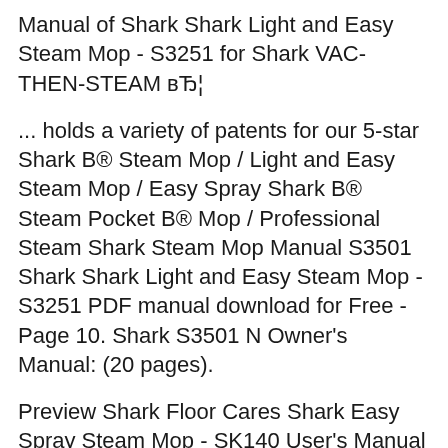Manual of Shark Shark Light and Easy Steam Mop - S3251 for Shark VAC-THEN-STEAM вЂ¦
... holds a variety of patents for our 5-star Shark В® Steam Mop / Light and Easy Steam Mop / Easy Spray Shark В® Steam Pocket В® Mop / Professional Steam Shark Steam Mop Manual S3501 Shark Shark Light and Easy Steam Mop - S3251 PDF manual download for Free - Page 10. Shark S3501 N Owner's Manual: (20 pages).
Preview Shark Floor Cares Shark Easy Spray Steam Mop - SK140 User's Manual Online and Download PDF Manuals & Instructions for FREE from